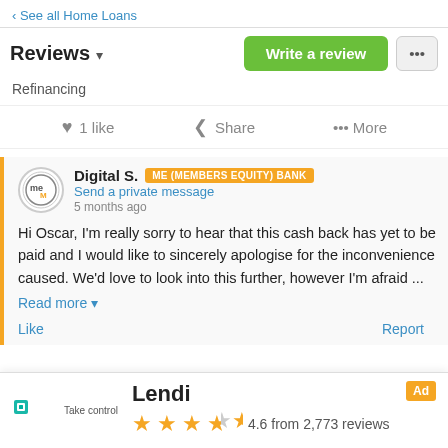‹ See all Home Loans
Reviews ▼
Refinancing
1 like   Share   ••• More
Digital S.   ME (MEMBERS EQUITY) BANK
Send a private message
5 months ago
Hi Oscar, I'm really sorry to hear that this cash back has yet to be paid and I would like to sincerely apologise for the inconvenience caused. We'd love to look into this further, however I'm afraid ...
Read more ▼
Like   Report
Lendi   4.6 from 2,773 reviews   Ad